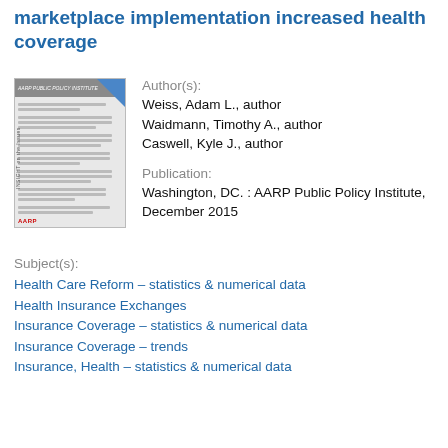marketplace implementation increased health coverage
[Figure (photo): Thumbnail image of a document titled 'INSIGHT on the Issues' with AARP logo, showing a multi-column text layout with a blue corner decoration.]
Author(s):
Weiss, Adam L., author
Waidmann, Timothy A., author
Caswell, Kyle J., author
Publication:
Washington, DC. : AARP Public Policy Institute, December 2015
Subject(s):
Health Care Reform – statistics & numerical data
Health Insurance Exchanges
Insurance Coverage – statistics & numerical data
Insurance Coverage – trends
Insurance, Health – statistics & numerical data